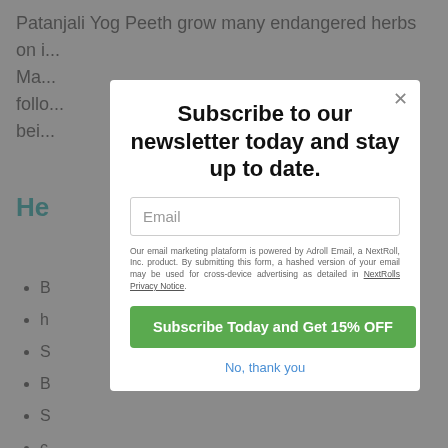Patanjali Yog Peeth grow many endangered herbs on i... Ma... follo... bei...
He...
B...
h...
S...
B...
S...
c...
(image)
(bullet)
h...
Subscribe to our newsletter today and stay up to date.
Email
Our email marketing plataform is powered by Adroll Email, a NextRoll, Inc. product. By submitting this form, a hashed version of your email may be used for cross-device advertising as detailed in NextRolls Privacy Notice.
Subscribe Today and Get 15% OFF
No, thank you